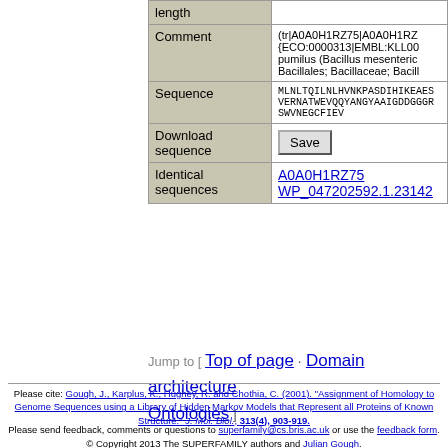| length |  |
| Comment | (tr|A0A0H1RZ75|A0A0H1RZ... {ECO:0000313|EMBL:KLL00... pumilus (Bacillus mesenteric... Bacillales; Bacillaceae; Bacill... |
| Sequence | MLNLTQILNLHVNKPASDIHIKEAES... VERNATWEVQQYANGYAAIGDDGGGR... SWVNEGCFIEV |
| Download sequence | Save |
| Identical sequences | A0A0H1RZ75
WP_047202592.1.23142 |
Jump to [ Top of page · Domain architecture · Ontologies ]
Please cite: Gough, J., Karplus, K., Hughey, R. and Chothia, C. (2001). "Assignment of Homology to Genome Sequences using a Library of Hidden Markov Models that Represent all Proteins of Known Structure." J. Mol. Biol., 313(4), 903-919.
Please send feedback, comments or questions to superfamily@cs.bris.ac.uk or use the feedback form.
© Copyright 2013 The SUPERFAMILY authors and Julian Gough.